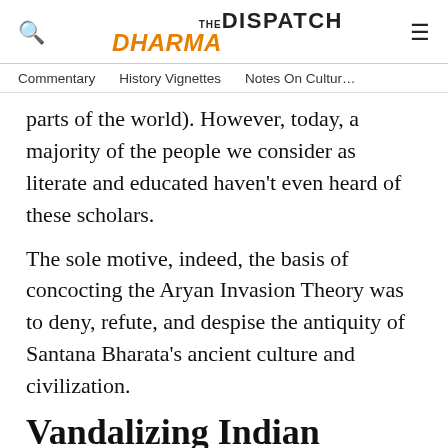THE DHARMA DISPATCH
Commentary   History Vignettes   Notes On Cultur...
parts of the world). However, today, a majority of the people we consider as literate and educated haven't even heard of these scholars.
The sole motive, indeed, the basis of concocting the Aryan Invasion Theory was to deny, refute, and despise the antiquity of Santana Bharata's ancient culture and civilization.
Vandalizing Indian History
These are the two main threads that permeate the Aryan Invasion Theory and have been parroted in different ways and under various garbs for about 150